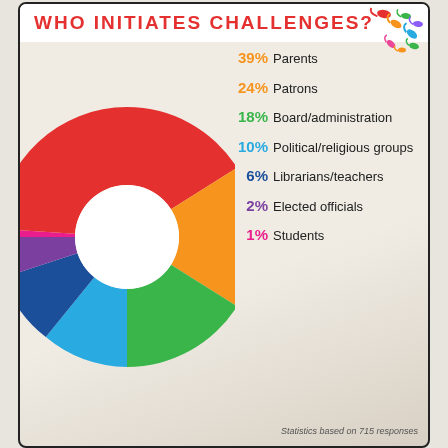WHO INITIATES CHALLENGES?
[Figure (donut-chart): Who Initiates Challenges?]
Statistics based on 715 responses